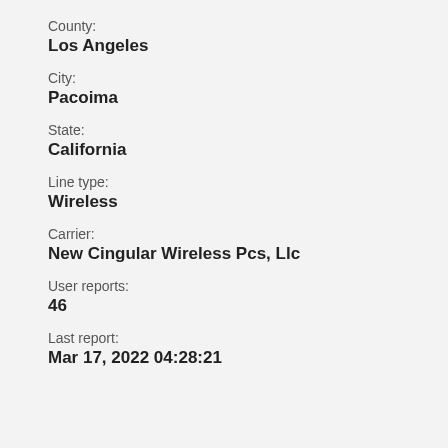County:
Los Angeles
City:
Pacoima
State:
California
Line type:
Wireless
Carrier:
New Cingular Wireless Pcs, Llc
User reports:
46
Last report:
Mar 17, 2022 04:28:21